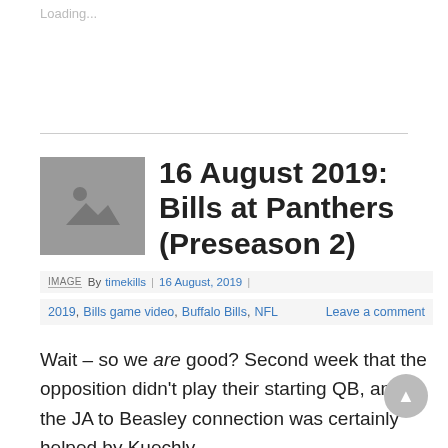Loading...
16 August 2019: Bills at Panthers (Preseason 2)
IMAGE By timekills | 16 August, 2019 |
2019, Bills game video, Buffalo Bills, NFL    Leave a comment
Wait – so we are good? Second week that the opposition didn't play their starting QB, and the JA to Beasley connection was certainly helped by Kuechly